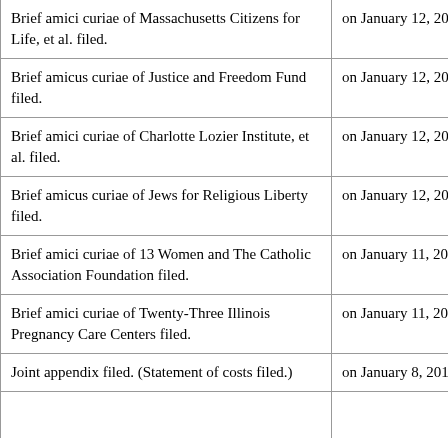| Filing | Date |
| --- | --- |
| Brief amici curiae of Massachusetts Citizens for Life, et al. filed. | on January 12, 2018 |
| Brief amicus curiae of Justice and Freedom Fund filed. | on January 12, 2018 |
| Brief amici curiae of Charlotte Lozier Institute, et al. filed. | on January 12, 2018 |
| Brief amicus curiae of Jews for Religious Liberty filed. | on January 12, 2018 |
| Brief amici curiae of 13 Women and The Catholic Association Foundation filed. | on January 11, 2018 |
| Brief amici curiae of Twenty-Three Illinois Pregnancy Care Centers filed. | on January 11, 2018 |
| Joint appendix filed. (Statement of costs filed.) | on January 8, 2018 |
| [partial row cut off] |  |